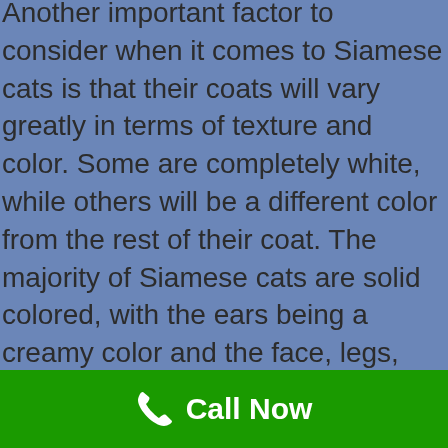Another important factor to consider when it comes to Siamese cats is that their coats will vary greatly in terms of texture and color. Some are completely white, while others will be a different color from the rest of their coat. The majority of Siamese cats are solid colored, with the ears being a creamy color and the face, legs, and tail being various shades of white. Siamese kittens will be completely white, while adult Siamese will have varying amounts of white fur throughout their body.
The patterns that the Siamese possess are some of the most distinctive in the world of cats. They have distinct coat patterns that are either solid, stripes, or mixed. In terms of the purebred Siamese, their coats will be black, brown, red, or a combination of these colours. There have been some concerns over the long-term health
Call Now